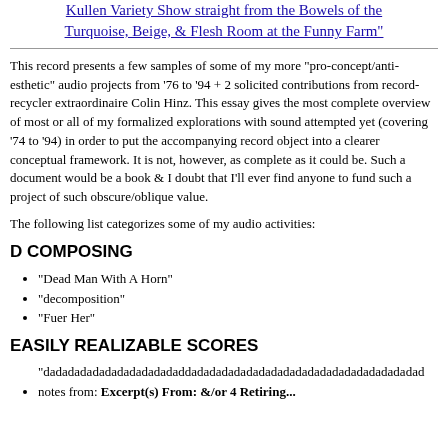Kullen Variety Show straight from the Bowels of the Turquoise, Beige, & Flesh Room at the Funny Farm"
This record presents a few samples of some of my more "pro-concept/anti-esthetic" audio projects from '76 to '94 + 2 solicited contributions from record-recycler extraordinaire Colin Hinz. This essay gives the most complete overview of most or all of my formalized explorations with sound attempted yet (covering '74 to '94) in order to put the accompanying record object into a clearer conceptual framework. It is not, however, as complete as it could be. Such a document would be a book & I doubt that I'll ever find anyone to fund such a project of such obscure/oblique value.
The following list categorizes some of my audio activities:
D COMPOSING
"Dead Man With A Horn"
"decomposition"
"Fuer Her"
EASILY REALIZABLE SCORES
"dadadadadadadadadadadaddadadadadadadadadadadadadadadadadadadad
notes from: Excerpt(s) From: &/or 4 Retiring...